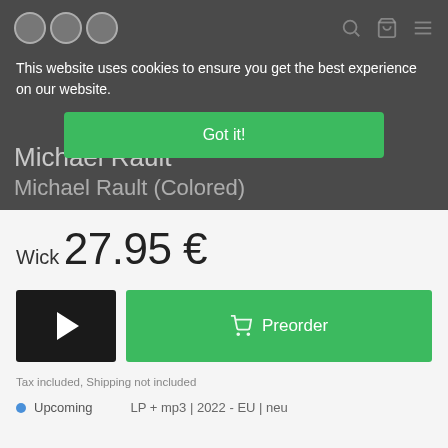This website uses cookies to ensure you get the best experience on our website.
Got it!
Michael Rault
Michael Rault (Colored)
Wick
27.95 €
[Figure (screenshot): Play button (black square with white triangle) and green Preorder button with cart icon]
Tax included, Shipping not included
Upcoming    LP + mp3 | 2022 - EU | neu